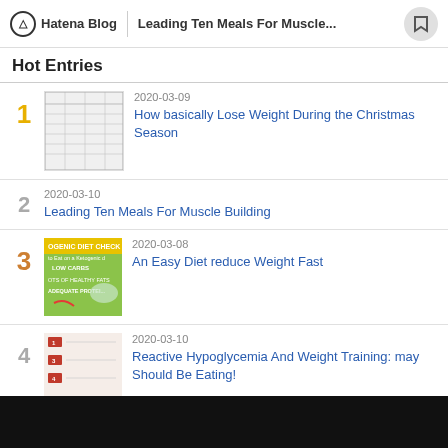Hatena Blog | Leading Ten Meals For Muscle...
Hot Entries
2020-03-09 How basically Lose Weight During the Christmas Season
2020-03-10 Leading Ten Meals For Muscle Building
2020-03-08 An Easy Diet reduce Weight Fast
2020-03-10 Reactive Hypoglycemia And Weight Training: may Should Be Eating!